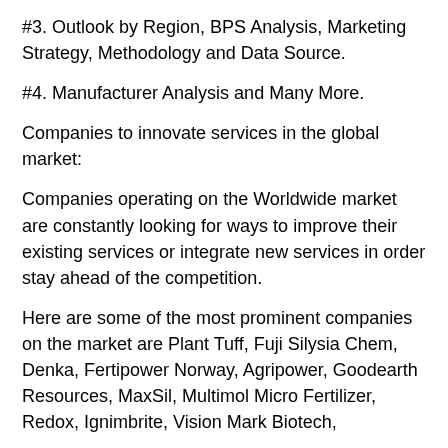#3. Outlook by Region, BPS Analysis, Marketing Strategy, Methodology and Data Source.
#4. Manufacturer Analysis and Many More.
Companies to innovate services in the global market:
Companies operating on the Worldwide market are constantly looking for ways to improve their existing services or integrate new services in order stay ahead of the competition.
Here are some of the most prominent companies on the market are Plant Tuff, Fuji Silysia Chem, Denka, Fertipower Norway, Agripower, Goodearth Resources, MaxSil, Multimol Micro Fertilizer, Redox, Ignimbrite, Vision Mark Biotech, Elkem and Aker Silica, Multikem Fertilizers and Taki...